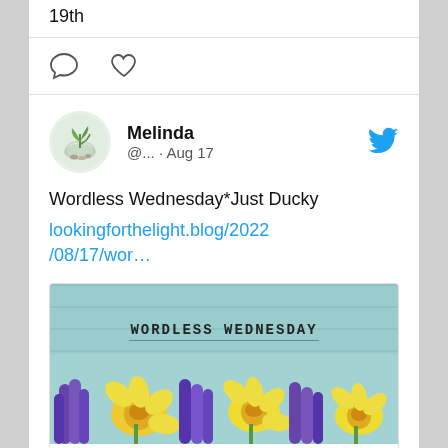19th
[Figure (other): Comment and heart/like icon buttons]
Melinda @... · Aug 17
Wordless Wednesday*Just Ducky
lookingforthelight.blog/2022/08/17/wor…
[Figure (photo): Preview card image showing 'WORDLESS WEDNESDAY' text on teal wooden background with yellow daffodils and purple hyacinths flowers at bottom]
lookingforthelight.blog
Wordless Wednesday*Just Ducky